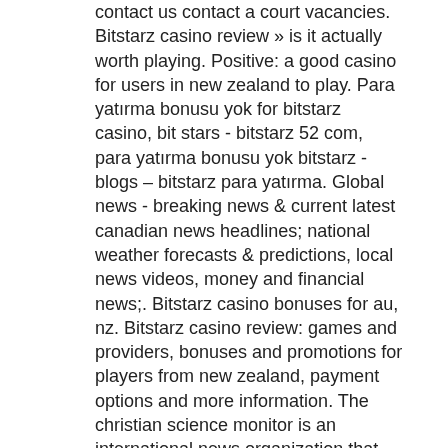contact us contact a court vacancies. Bitstarz casino review » is it actually worth playing. Positive: a good casino for users in new zealand to play. Para yatırma bonusu yok for bitstarz casino, bit stars - bitstarz 52 com, para yatırma bonusu yok bitstarz - blogs – bitstarz para yatırma. Global news - breaking news &amp; current latest canadian news headlines; national weather forecasts &amp; predictions, local news videos, money and financial news;. Bitstarz casino bonuses for au, nz. Bitstarz casino review: games and providers, bonuses and promotions for players from new zealand, payment options and more information. The christian science monitor is an international news organization that delivers thoughtful, global coverage via its website, weekly magazine, online daily. Players using the bitstarz new zealand bonus code must deposit a minimum of nz$20 and can win 100% up to nz$800 on. Try the bitstraz vip